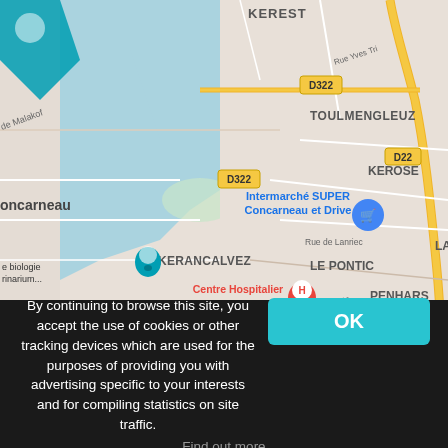[Figure (map): Google Maps view of Concarneau, France, showing neighborhoods: Kerest, Toulmengleuz, Kerose, Kerancalvez, Le Pontic, Penhars, Le Porzou, Kervini. Shows Intermarché SUPER Concarneau et Drive marker, Centre Hospitalier de Cornouaille H marker, road labels D322, D22, Rue de Lanriec, Rue de Tregunc, and a teal map pin icon top left.]
By continuing to browse this site, you accept the use of cookies or other tracking devices which are used for the purposes of providing you with advertising specific to your interests and for compiling statistics on site traffic.
Find out more